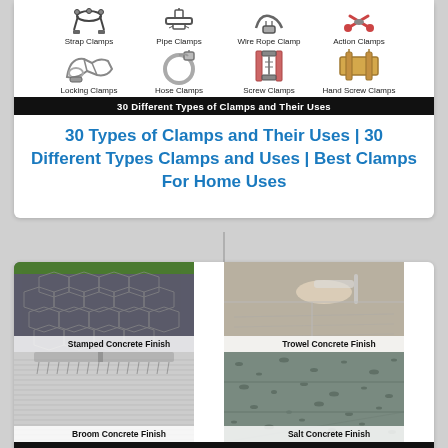[Figure (illustration): Grid of clamp types showing: Strap Clamps, Pipe Clamps, Wire Rope Clamp, Action Clamps, Locking Clamps, Hose Clamps, Screw Clamps, Hand Screw Clamps with a black banner reading '30 Different Types of Clamps and Their Uses']
30 Types of Clamps and Their Uses | 30 Different Types Clamps and Uses | Best Clamps For Home Uses
[Figure (photo): 2x2 grid of concrete finish photos: Stamped Concrete Finish (top left), Trowel Concrete Finish (top right), Broom Concrete Finish (bottom left), Salt Concrete Finish (bottom right), with banner '10 Types of Concrete Finishes & Pictures']